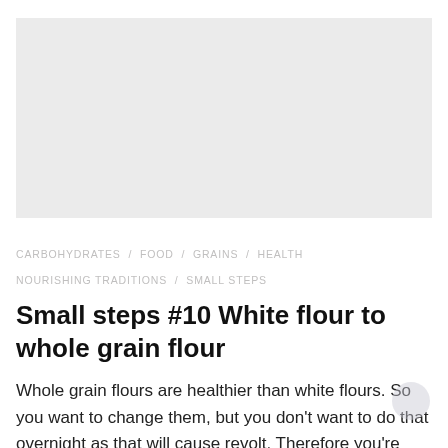[Figure (photo): Light gray placeholder image area at top of page]
CARBOHYDRATES / FOOD / GRAINS / HEALTH / NOURISHING TRADITIONS / SMALL STEPS
Small steps #10 White flour to whole grain flour
Whole grain flours are healthier than white flours. So you want to change them, but you don't want to do that overnight as that will cause revolt. Therefore you're better off changing that gradually. In small steps. You also want to make sure that you treat your grains well before